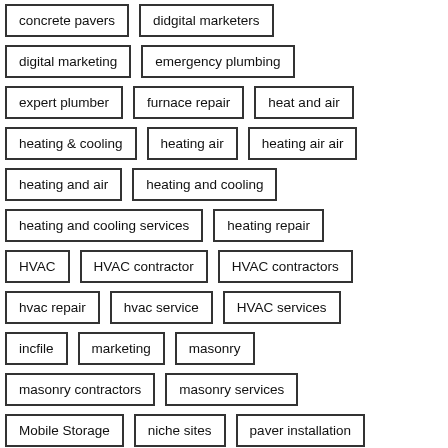concrete pavers
didgital marketers
digital marketing
emergency plumbing
expert plumber
furnace repair
heat and air
heating & cooling
heating air
heating air air
heating and air
heating and cooling
heating and cooling services
heating repair
HVAC
HVAC contractor
HVAC contractors
hvac repair
hvac service
HVAC services
incfile
marketing
masonry
masonry contractors
masonry services
Mobile Storage
niche sites
paver installation
plumbing company
plumbing maintenance